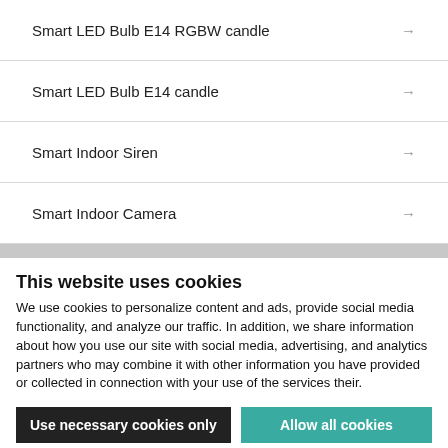Smart LED Bulb E14 RGBW candle
Smart LED Bulb E14 candle
Smart Indoor Siren
Smart Indoor Camera
This website uses cookies
We use cookies to personalize content and ads, provide social media functionality, and analyze our traffic. In addition, we share information about how you use our site with social media, advertising, and analytics partners who may combine it with other information you have provided or collected in connection with your use of the services their.
Use necessary cookies only
Allow all cookies
Show details